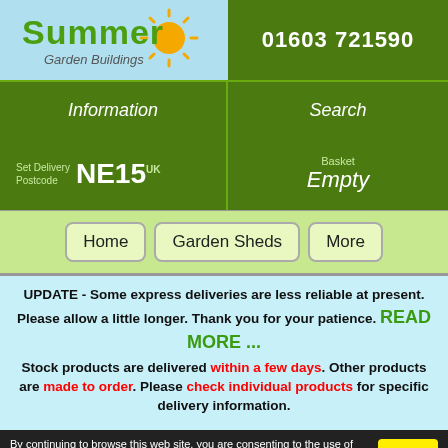[Figure (logo): Summer Garden Buildings logo with sun icon and light blue background]
01603 721590
Information
Search
Set Delivery Postcode  NE15 UK
Basket Empty
Home
Garden Sheds
More
UPDATE - Some express deliveries are less reliable at present. Please allow a little longer. Thank you for your patience. READ MORE ... Stock products are delivered within a few days. Other products are made to order. Please check individual products for specific delivery information.
By continuing to browse this web site, you are consenting to the use of cookies. See the Privacy/Cookies page for more information about how we use cookies on this web site.